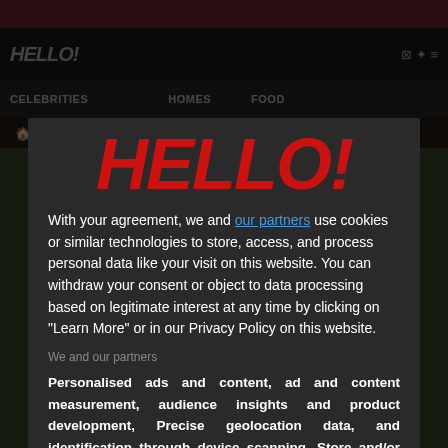[Figure (screenshot): HELLO! magazine website screenshot showing navigation bar with CELEBRITIES, HOMES, FOOD categories and Celebrity News breadcrumb, with a dark background image]
[Figure (logo): HELLO! magazine logo in large bold red italic text]
With your agreement, we and our partners use cookies or similar technologies to store, access, and process personal data like your visit on this website. You can withdraw your consent or object to data processing based on legitimate interest at any time by clicking on "Learn More" or in our Privacy Policy on this website.
We and our partners
Personalised ads and content, ad and content measurement, audience insights and product development, Precise geolocation data, and identification through device scanning, Store and/or access information on a device
OPTIONS
AGREE